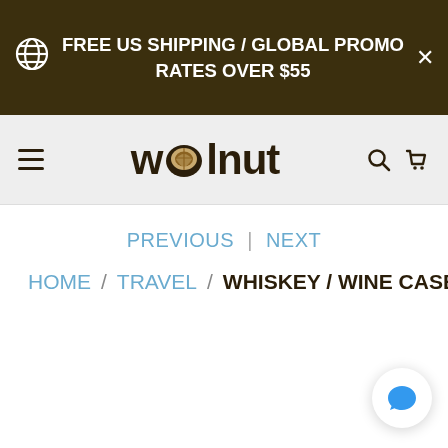FREE US SHIPPING / GLOBAL PROMO RATES OVER $55
[Figure (logo): Walnut store logo with walnut icon and wordmark 'wolnut']
PREVIOUS | NEXT
HOME / TRAVEL / WHISKEY / WINE CASE